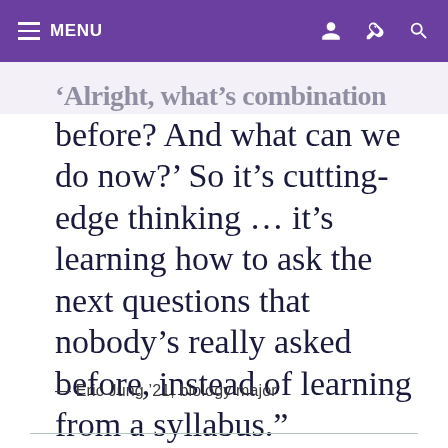MENU
before? And what can we do now?' So it’s cutting-edge thinking … it’s learning how to ask the next questions that nobody’s really asked before, instead of learning from a syllabus.”
— Eric Jung ’21, biology major